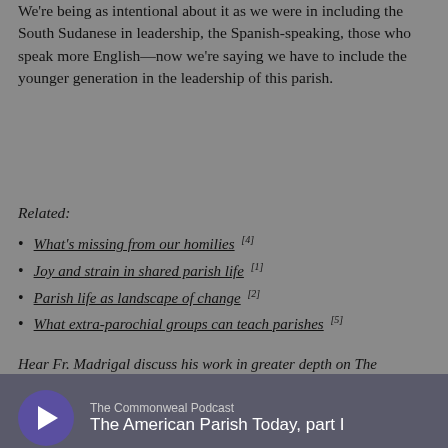We're being as intentional about it as we were in including the South Sudanese in leadership, the Spanish-speaking, those who speak more English—now we're saying we have to include the younger generation in the leadership of this parish.
Related:
What's missing from our homilies [4]
Joy and strain in shared parish life [1]
Parish life as landscape of change [2]
What extra-parochial groups can teach parishes [5]
Hear Fr. Madrigal discuss his work in greater depth on The Commonweal Podcast, available below.
[Figure (other): Embedded audio podcast player for 'The Commonweal Podcast - The American Parish Today, part I', showing a purple play button, podcast name, episode title, duration 00:41:56, and a waveform timeline bar.]